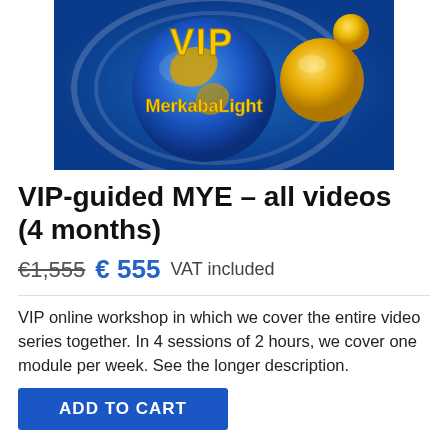[Figure (logo): VIP MerkabaLight logo — blue globe with yellow 'VIP' text and 'MerkabaLight' text on a blue circular background with light ring overlays]
VIP-guided MYE – all videos (4 months)
€1,555  € 555 VAT included
VIP online workshop in which we cover the entire video series together. In 4 sessions of 2 hours, we cover one module per week. See the longer description.
ADD TO CART